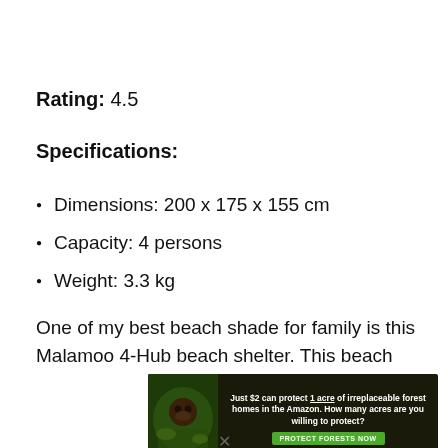Rating: 4.5
Specifications:
Dimensions: 200 x 175 x 155 cm
Capacity: 4 persons
Weight: 3.3 kg
One of my best beach shade for family is this Malamoo 4-Hub beach shelter. This beach
[Figure (other): Advertisement banner for Amazon forest protection: 'Just $2 can protect 1 acre of irreplaceable forest homes in the Amazon. How many acres are you willing to protect?' with a green PROTECT FORESTS NOW button and an image of a primate in lush green forest.]